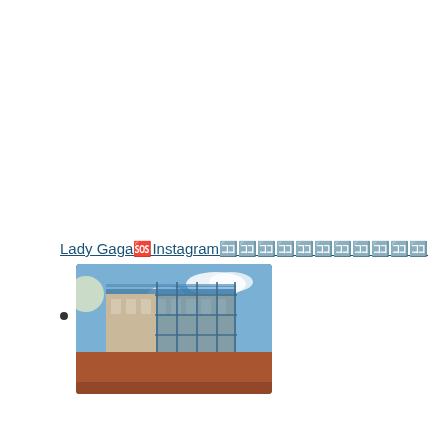Lady Gaga🆘Instagram🈁🈁🈁🈁🈁🈁🈁🈁🈁🈁🈁
[Figure (photo): Thumbnail photograph of a building with scaffolding and blue netting under a partly cloudy sky]